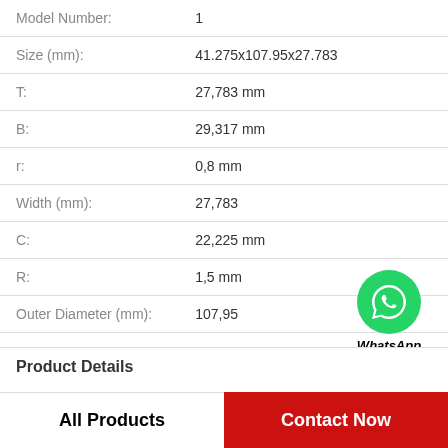| Property | Value |
| --- | --- |
| Model Number: | 1 |
| Size (mm): | 41.275x107.95x27.783 |
| T: | 27,783 mm |
| B: | 29,317 mm |
| r: | 0,8 mm |
| Width (mm): | 27,783 |
| C: | 22,225 mm |
| R: | 1,5 mm |
| Outer Diameter (mm): | 107,95 |
[Figure (logo): WhatsApp Online green circle icon with phone handset, labeled WhatsApp Online]
Product Details
All Products
Contact Now